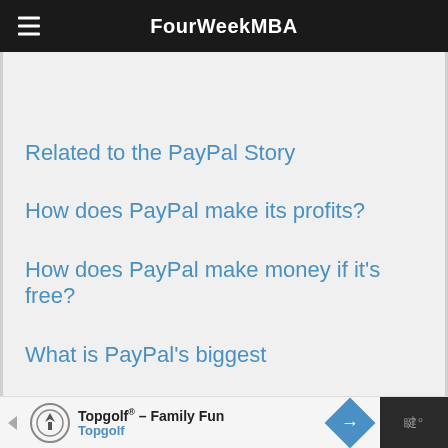FourWeekMBA
Related to the PayPal Story
How does PayPal make its profits?
How does PayPal make money if it's free?
What is PayPal's biggest
Topgolf® – Family Fun Topgolf